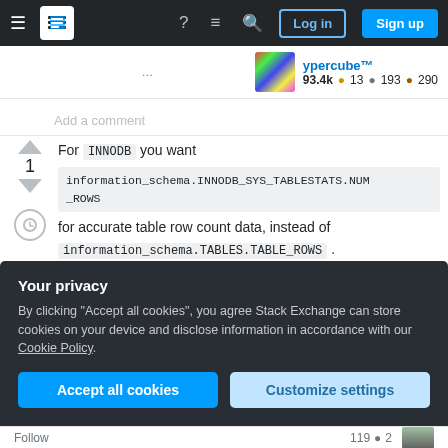[Figure (screenshot): Stack Exchange navigation bar with hamburger menu, logo, help icon, chat icon, search icon, Log in button, and Sign up button]
ypercube™ 93.4k 🥇13 🥈193 🥉290
Add a comment
For INNODB you want information_schema.INNODB_SYS_TABLESTATS.NUM_ROWS for accurate table row count data, instead of information_schema.TABLES.TABLE_ROWS .
I posted more details here:
https://stackoverflow.com/questions/33383877/why-
Your privacy
By clicking "Accept all cookies", you agree Stack Exchange can store cookies on your device and disclose information in accordance with our Cookie Policy.
Accept all cookies   Customize settings
Follow   119 🥈2